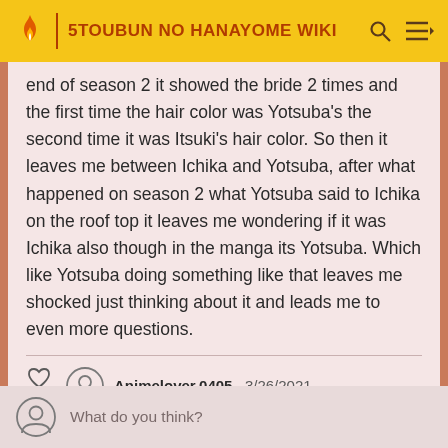5TOUBUN NO HANAYOME WIKI
end of season 2 it showed the bride 2 times and the first time the hair color was Yotsuba's the second time it was Itsuki's hair color. So then it leaves me between Ichika and Yotsuba, after what happened on season 2 what Yotsuba said to Ichika on the roof top it leaves me wondering if it was Ichika also though in the manga its Yotsuba. Which like Yotsuba doing something like that leaves me shocked just thinking about it and leads me to even more questions.
Animelover.0405 · 3/26/2021
What do you think?